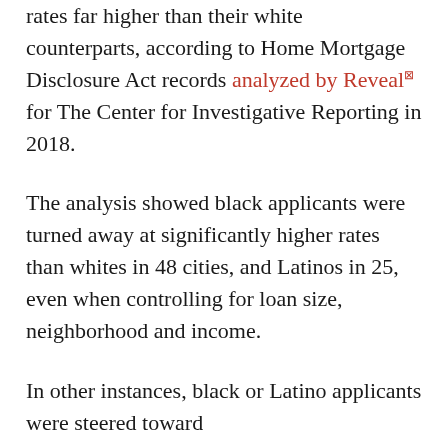rates far higher than their white counterparts, according to Home Mortgage Disclosure Act records analyzed by Reveal for The Center for Investigative Reporting in 2018.
The analysis showed black applicants were turned away at significantly higher rates than whites in 48 cities, and Latinos in 25, even when controlling for loan size, neighborhood and income.
In other instances, black or Latino applicants were steered toward